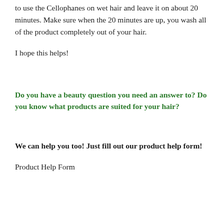to use the Cellophanes on wet hair and leave it on about 20 minutes. Make sure when the 20 minutes are up, you wash all of the product completely out of your hair.
I hope this helps!
Do you have a beauty question you need an answer to? Do you know what products are suited for your hair?
We can help you too! Just fill out our product help form!
Product Help Form